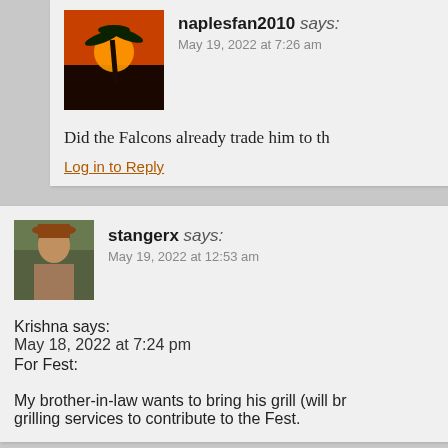naplesfan2010 says: May 19, 2022 at 7:26 am
Did the Falcons already trade him to th
Log in to Reply
stangerx says: May 19, 2022 at 12:53 am
Krishna says:
May 18, 2022 at 7:24 pm
For Fest:

My brother-in-law wants to bring his grill (will br grilling services to contribute to the Fest.